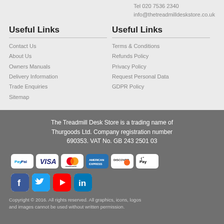Tel 020 7536 2340
info@thetreadmilldeskstore.co.uk
Useful Links
Contact Us
About Us
Owners Manuals
Delivery Information
Trade Enquiries
Sitemap
Useful Links
Terms & Conditions
Refunds Policy
Privacy Policy
Request Personal Data
GDPR Policy
The Treadmill Desk Store is a trading name of Thurgoods Ltd. Company registration number 690353. VAT No. GB 243 2501 03
[Figure (logo): Payment method icons: PayPal, Visa, Mastercard, American Express, Discover, Apple Pay]
[Figure (logo): Social media icons: Facebook, Twitter, YouTube, LinkedIn]
Copyright © 2016. All rights reserved. All graphics, icons, logos and images cannot be used without written permission.